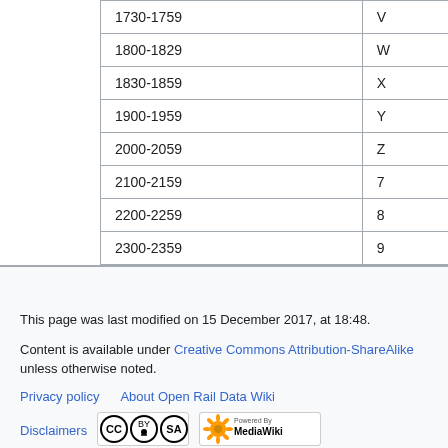| 1730-1759 | V |
| 1800-1829 | W |
| 1830-1859 | X |
| 1900-1959 | Y |
| 2000-2059 | Z |
| 2100-2159 | 7 |
| 2200-2259 | 8 |
| 2300-2359 | 9 |
This page was last modified on 15 December 2017, at 18:48.
Content is available under Creative Commons Attribution-ShareAlike unless otherwise noted.
Privacy policy   About Open Rail Data Wiki   Disclaimers